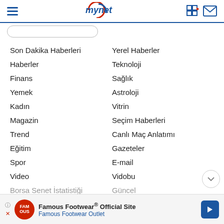mynet
Son Dakika Haberleri
Yerel Haberler
Haberler
Teknoloji
Finans
Sağlık
Yemek
Astroloji
Kadın
Vitrin
Magazin
Seçim Haberleri
Trend
Canlı Maç Anlatımı
Eğitim
Gazeteler
Spor
E-mail
Video
Vidobu
Borsa Senet İstatistiği
Güncel
Famous Footwear® Official Site Famous Footwear Outlet